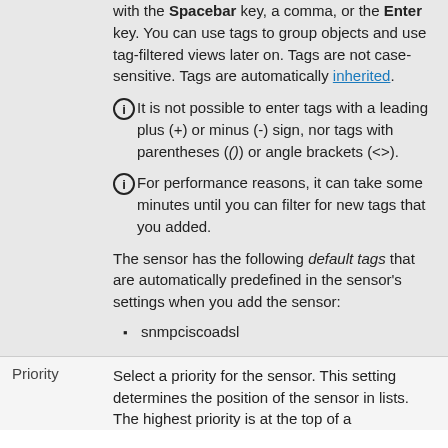Enter one or more tags. Confirm each tag with the Spacebar key, a comma, or the Enter key. You can use tags to group objects and use tag-filtered views later on. Tags are not case-sensitive. Tags are automatically inherited.
It is not possible to enter tags with a leading plus (+) or minus (-) sign, nor tags with parentheses (()) or angle brackets (<>).
For performance reasons, it can take some minutes until you can filter for new tags that you added.
The sensor has the following default tags that are automatically predefined in the sensor's settings when you add the sensor:
snmpciscoadsl
Priority
Select a priority for the sensor. This setting determines the position of the sensor in lists. The highest priority is at the top of a